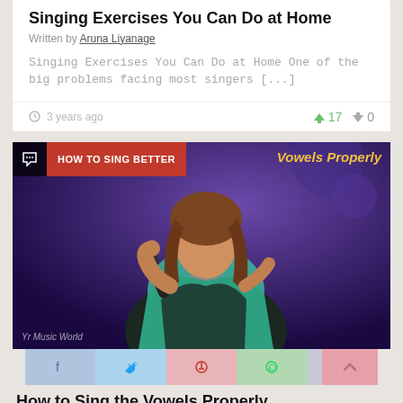Singing Exercises You Can Do at Home
Written by Aruna Liyanage
Singing Exercises You Can Do at Home One of the big problems facing most singers [...]
3 years ago · 17 upvotes · 0 downvotes
[Figure (photo): Woman singing into a microphone on stage, wearing a teal and black patterned dress, with overlay badge 'HOW TO SING BETTER' and yellow italic text 'Vowels Properly']
Share icons: Facebook, Twitter, Pinterest, WhatsApp, Email
How to Sing the Vowels Properly